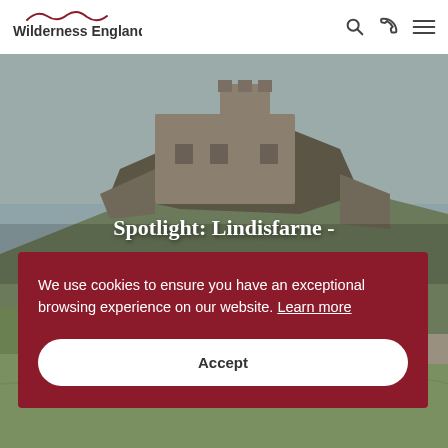[Figure (logo): Wilderness England logo with red wave/hills motif above text]
[Figure (photo): Photograph of Lindisfarne Castle on rocky outcrop with green hillside and grey sky]
Spotlight: Lindisfarne -
We use cookies to ensure you have an exceptional browsing experience on our website. Learn more
Accept